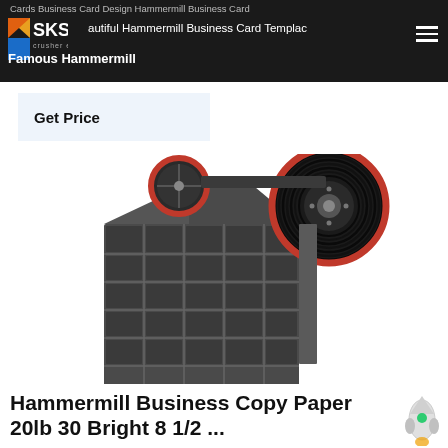Cards Business Card Design Hammermill Business Card | Beautiful Hammermill Business Card Template Famous Hammermill
Get Price
[Figure (photo): Industrial jaw crusher machine with black body, two large pulleys (one smaller on left, one large on right) with red rims, and grid-pattern front face with metal feet. White background product photo.]
Hammermill Business Copy Paper 20lb 30 Bright 8 1/2 ...